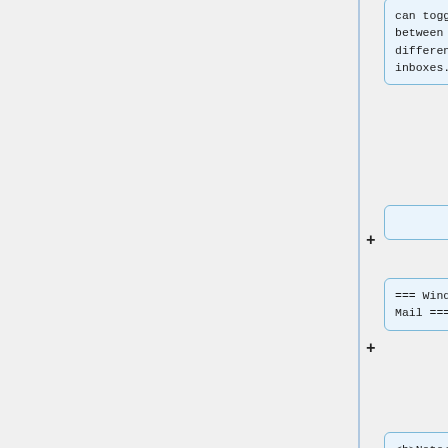can toggle between different inboxes.
+
=== Windows Mail ===
<b>Note</b>: Windows Mail can be <i>very</i> slow some times. I have no idea why. If you're looking for a decent email client on Windows,